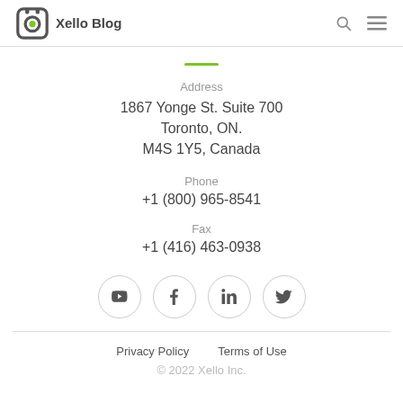Xello Blog
Address
1867 Yonge St. Suite 700
Toronto, ON.
M4S 1Y5, Canada
Phone
+1 (800) 965-8541
Fax
+1 (416) 463-0938
[Figure (other): Social media icons in circles: YouTube, Facebook, LinkedIn, Twitter]
Privacy Policy    Terms of Use
© 2022 Xello Inc.